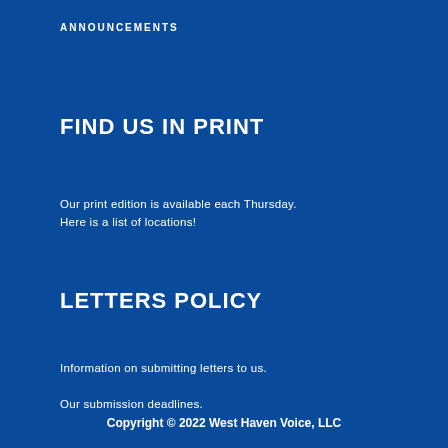ANNOUNCEMENTS
FIND US IN PRINT
Our print edition is available each Thursday.
Here is a list of locations!
LETTERS POLICY
Information on submitting letters to us.
Our submission deadlines.
Copyright © 2022 West Haven Voice, LLC